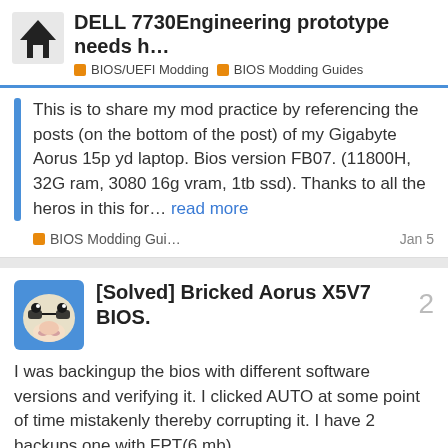DELL 7730Engineering prototype needs h... | BIOS/UEFI Modding | BIOS Modding Guides
This is to share my mod practice by referencing the posts (on the bottom of the post) of my Gigabyte Aorus 15p yd laptop. Bios version FB07. (11800H, 32G ram, 3080 16g vram, 1tb ssd). Thanks to all the heros in this for… read more
BIOS Modding Gui... Jan 5
[Solved] Bricked Aorus X5V7 BIOS.
I was backingup the bios with different software versions and verifying it. I clicked AUTO at some point of time mistakenly thereby corrupting it. I have 2 backups one with FPT(6 mb).